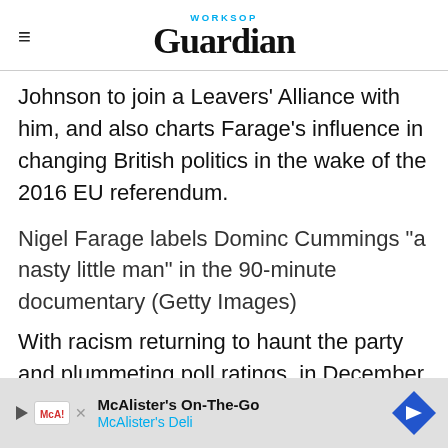WORKSOP Guardian
Johnson to join a Leavers' Alliance with him, and also charts Farage's influence in changing British politics in the wake of the 2016 EU referendum.
Nigel Farage labels Dominc Cummings "a nasty little man" in the 90-minute documentary (Getty Images)
With racism returning to haunt the party and plummeting poll ratings, in December 2019's general election, Farage controversially shades
[Figure (other): McAlister's On-The-Go advertisement banner with McAlister's Deli logo and navigation arrow icon]